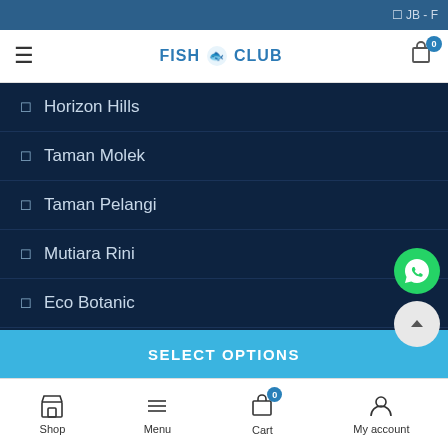JB -
[Figure (screenshot): Fish Club logo with fish icon in navigation bar]
Horizon Hills
Taman Molek
Taman Pelangi
Mutiara Rini
Eco Botanic
Fish Club© 2019
SELECT OPTIONS
Shop | Menu | Cart | My account